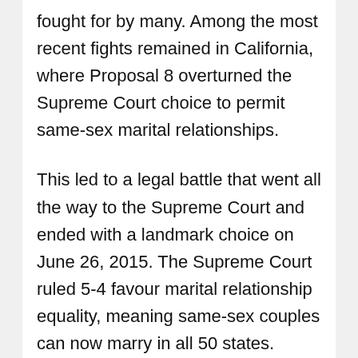fought for by many. Among the most recent fights remained in California, where Proposal 8 overturned the Supreme Court choice to permit same-sex marital relationships.
This led to a legal battle that went all the way to the Supreme Court and ended with a landmark choice on June 26, 2015. The Supreme Court ruled 5-4 favour marital relationship equality, meaning same-sex couples can now marry in all 50 states. While there have been problems, we are lastly moving towards full marriage